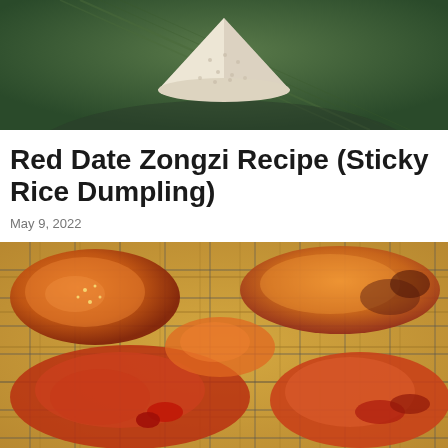[Figure (photo): A white sticky rice dumpling (zongzi) wrapped in a green bamboo leaf, viewed from above on a dark green plate or leaf background.]
Red Date Zongzi Recipe (Sticky Rice Dumpling)
May 9, 2022
[Figure (photo): Pieces of glazed roasted meat (possibly char siu pork or BBQ pork ribs) with a red-orange sticky glaze, resting on a wire rack over a bamboo mat.]